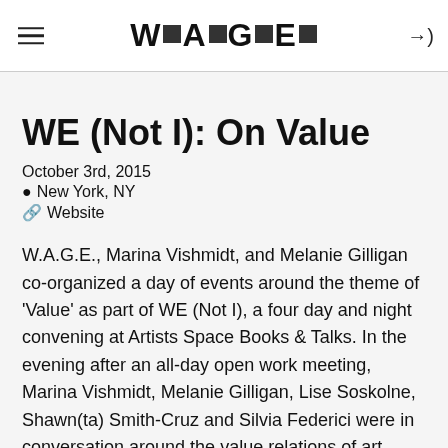W▪A▪G▪E▪
WE (Not I): On Value
October 3rd, 2015
📍 New York, NY
🔗 Website
W.A.G.E., Marina Vishmidt, and Melanie Gilligan co-organized a day of events around the theme of 'Value' as part of WE (Not I), a four day and night convening at Artists Space Books & Talks. In the evening after an all-day open work meeting, Marina Vishmidt, Melanie Gilligan, Lise Soskolne, Shawn(ta) Smith-Cruz and Silvia Federici were in conversation around the value relations of art production, and what kinds of (feminist) value-critical politics can create transversal connections between crises in the